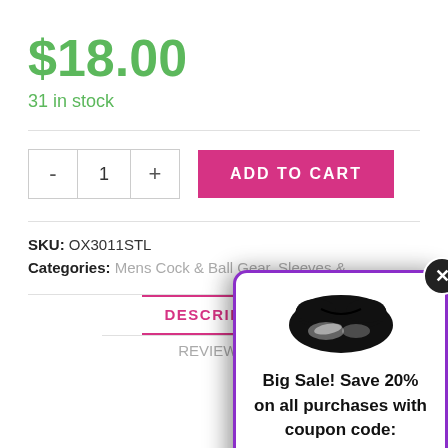$18.00
31 in stock
- 1 +   ADD TO CART
SKU: OX3011STL
Categories: Mens Cock & Ball Gear, Sleeves &
DESCRIPTION
REVIEWS (0)
[Figure (other): Popup overlay with purple border, black lips silhouette icon, close X button, and promotional text: Big Sale! Save 20% on all purchases with coupon code: getoff20]